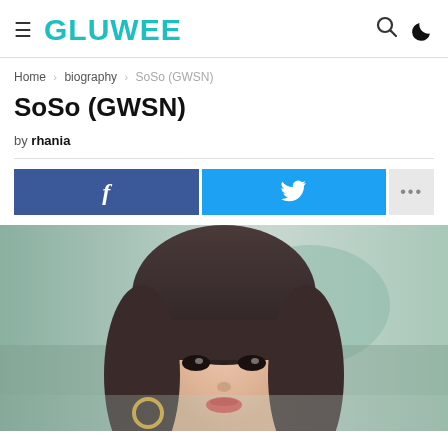GLUWEE
Home › biography › SoSo (GWSN)
SoSo (GWSN)
by rhania
[Figure (photo): Portrait photo of SoSo from GWSN, a young woman with long straight dark hair with bangs, wearing hoop earrings, looking at camera with blurred background]